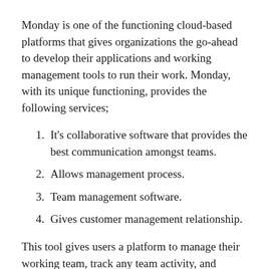Monday is one of the functioning cloud-based platforms that gives organizations the go-ahead to develop their applications and working management tools to run their work. Monday, with its unique functioning, provides the following services;
It’s collaborative software that provides the best communication amongst teams.
Allows management process.
Team management software.
Gives customer management relationship.
This tool gives users a platform to manage their working team, track any team activity, and instantly see